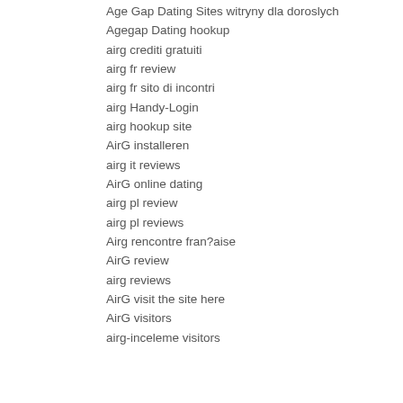Age Gap Dating Sites witryny dla doroslych
Agegap Dating hookup
airg crediti gratuiti
airg fr review
airg fr sito di incontri
airg Handy-Login
airg hookup site
AirG installeren
airg it reviews
AirG online dating
airg pl review
airg pl reviews
Airg rencontre fran?aise
AirG review
airg reviews
AirG visit the site here
AirG visitors
airg-inceleme visitors